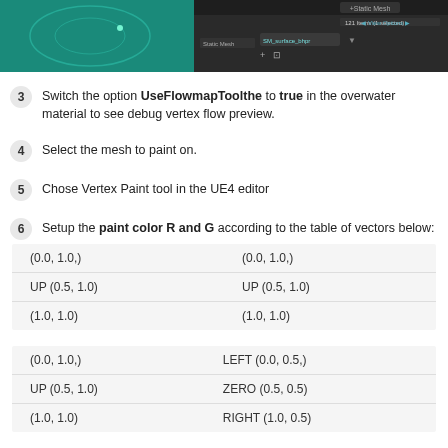[Figure (screenshot): Screenshot showing a 3D viewport with teal/green water surface on the left and a dark Unreal Engine editor panel on the right showing Static Mesh settings with '121 Items (1 selected)' and 'SM_surface_bhpr' mesh selected.]
Switch the option UseFlowmapToolthe to true in the overwater material to see debug vertex flow preview.
Select the mesh to paint on.
Chose Vertex Paint tool in the UE4 editor
Setup the paint color R and G according to the table of vectors below:
| (0.0, 1.0,) | (0.0, 1.0,) |
| UP (0.5, 1.0) | UP (0.5, 1.0) |
| (1.0, 1.0) | (1.0, 1.0) |
| (0.0, 1.0,) | LEFT (0.0, 0.5,) |
| UP (0.5, 1.0) | ZERO (0.5, 0.5) |
| (1.0, 1.0) | RIGHT (1.0, 0.5) |